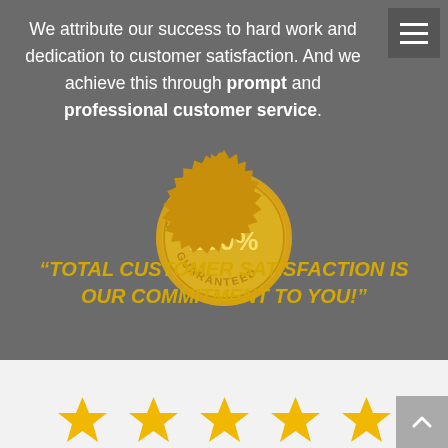We attribute our success to hard work and dedication to customer satisfaction. And we achieve this through prompt and professional customer service.
[Figure (illustration): Gold satisfaction seal badge with '100%' in the center, 'SATISFACTION' across the top arc and 'GUARANTEED' across the bottom arc, with a sunburst/scalloped edge border.]
“TOTAL CUSTOMER SATISFACTION IS OUR COMMITMENT TO YOU!”
[Figure (illustration): Five gold/yellow star rating icons displayed in a row at the bottom of the page.]